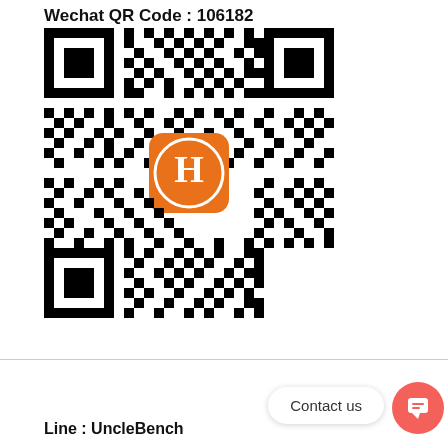Wechat QR Code : 106182
[Figure (other): WeChat QR code with orange H logo in the center]
Contact us
Line : UncleBench